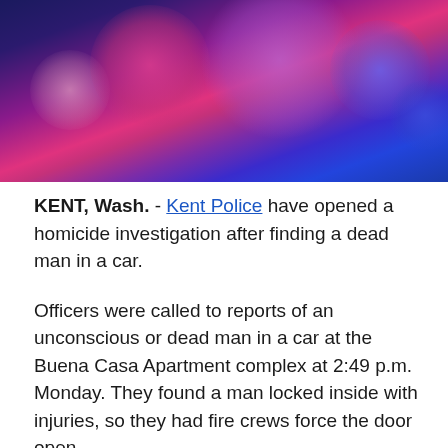[Figure (photo): Blurred bokeh background photo of police lights — red, pink, purple and blue circular light orbs on a dark background]
KENT, Wash. - Kent Police have opened a homicide investigation after finding a dead man in a car.
Officers were called to reports of an unconscious or dead man in a car at the Buena Casa Apartment complex at 2:49 p.m. Monday. They found a man locked inside with injuries, so they had fire crews force the door open.
The man was declared dead at the scene, identified him as a 23-year-old Bonney Lake resident.
Authorities say reports of a suspect vehicle leaving the